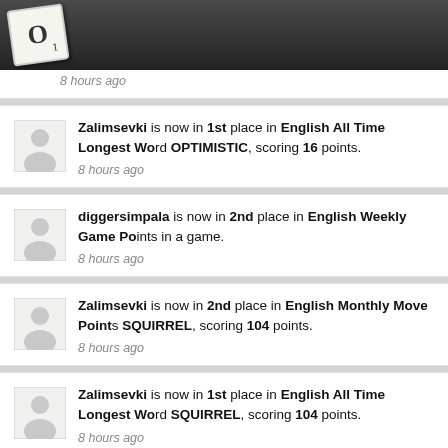O1 (logo/app header bar)
8 hours ago
Zalimsevki is now in 1st place in English All Time Longest Word OPTIMISTIC, scoring 16 points.
8 hours ago
diggersimpala is now in 2nd place in English Weekly Game Points in a game.
8 hours ago
Zalimsevki is now in 2nd place in English Monthly Move Points SQUIRREL, scoring 104 points.
8 hours ago
Zalimsevki is now in 1st place in English All Time Longest Word SQUIRREL, scoring 104 points.
8 hours ago